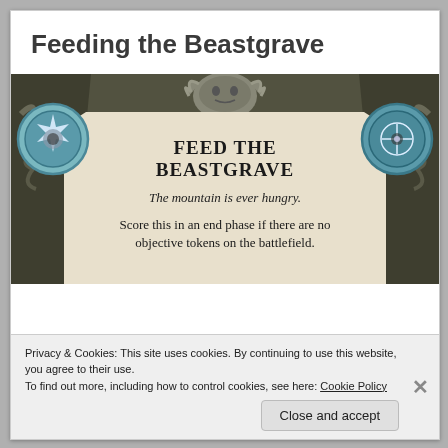Feeding the Beastgrave
[Figure (illustration): A game card titled 'Feed the Beastgrave' on a dark decorative background with tentacle/wing motifs and two circular badge emblems on left and right. The card has a parchment-colored center with bold uppercase serif text reading 'Feed the Beastgrave', italic flavor text 'The mountain is ever hungry.' and body text 'Score this in an end phase if there are no objective tokens on the battlefield.']
Privacy & Cookies: This site uses cookies. By continuing to use this website, you agree to their use.
To find out more, including how to control cookies, see here: Cookie Policy
Close and accept